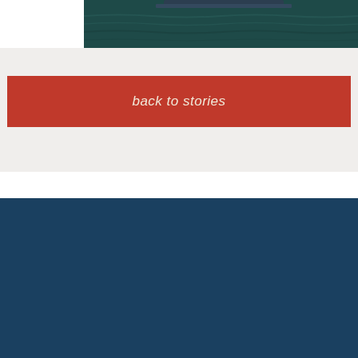[Figure (photo): Partial view of a boat or vessel on dark teal water, cropped at the top of the page]
back to stories
[Figure (infographic): Social media icons: Facebook (f), Twitter (bird), Google+ (g+), YouTube (You Tube) in cream/beige color on dark navy background]
Office / Contacts
2424 Haywood Avenue, West Vancouver BC, V7V 1Y1, Canada